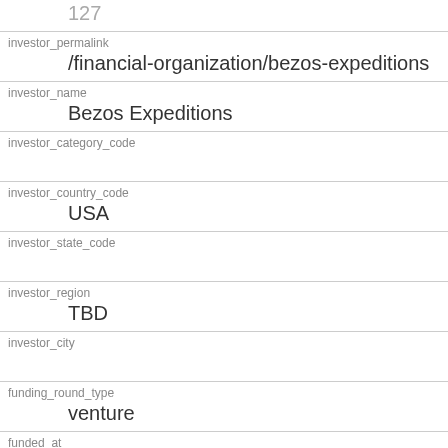127
| investor_permalink | /financial-organization/bezos-expeditions |
| investor_name | Bezos Expeditions |
| investor_category_code |  |
| investor_country_code | USA |
| investor_state_code |  |
| investor_region | TBD |
| investor_city |  |
| funding_round_type | venture |
| funded_at | 1167609600 |
| funded_year | 2007 |